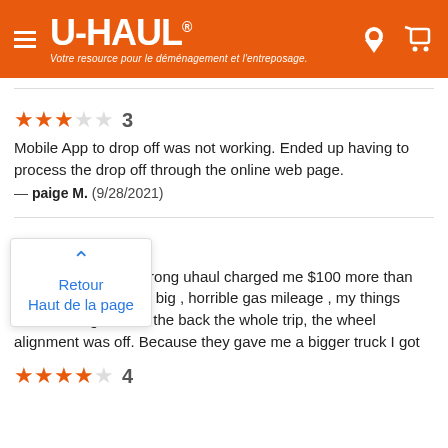U-HAUL® — Votre resource pour le déménagement et l'entreposage.
★★★☆☆ 3
Mobile App to drop off was not working. Ended up having to process the drop off through the online web page.
— paige M. (9/28/2021)
★☆☆☆☆ 1
They gave me the wrong uhaul charged me $100 more than my quote , it was too big , horrible gas mileage , my things were shifting around the back the whole trip, the wheel alignment was off. Because they gave me a bigger truck I got worse gas mileage , never using uhaul again.
(9/3/2021)
[Figure (other): Popup overlay with blue upward chevron arrow and text 'Retour Haut de la page']
★★★★☆ 4